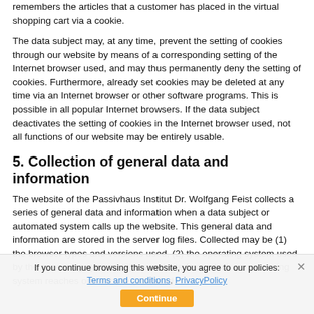remembers the articles that a customer has placed in the virtual shopping cart via a cookie.
The data subject may, at any time, prevent the setting of cookies through our website by means of a corresponding setting of the Internet browser used, and may thus permanently deny the setting of cookies. Furthermore, already set cookies may be deleted at any time via an Internet browser or other software programs. This is possible in all popular Internet browsers. If the data subject deactivates the setting of cookies in the Internet browser used, not all functions of our website may be entirely usable.
5. Collection of general data and information
The website of the Passivhaus Institut Dr. Wolfgang Feist collects a series of general data and information when a data subject or automated system calls up the website. This general data and information are stored in the server log files. Collected may be (1) the browser types and versions used, (2) the operating system used by the accessing system, (3) the website from which an accessing system reaches our website (so-called
If you continue browsing this website, you agree to our policies: Terms and conditions, PrivacyPolicy
Continue